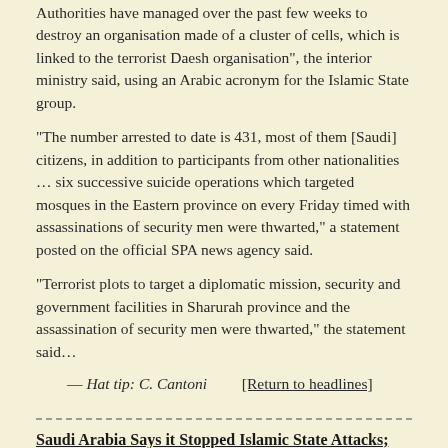Authorities have managed over the past few weeks to destroy an organisation made of a cluster of cells, which is linked to the terrorist Daesh organisation", the interior ministry said, using an Arabic acronym for the Islamic State group.
“The number arrested to date is 431, most of them [Saudi] citizens, in addition to participants from other nationalities … six successive suicide operations which targeted mosques in the Eastern province on every Friday timed with assassinations of security men were thwarted,” a statement posted on the official SPA news agency said.
“Terrorist plots to target a diplomatic mission, security and government facilities in Sharurah province and the assassination of security men were thwarted,” the statement said…
— Hat tip: C. Cantoni        [Return to headlines]
Saudi Arabia Says it Stopped Islamic State Attacks; 400 Held
RIYADH, Saudi Arabia — Saudi Arabia said Saturday it